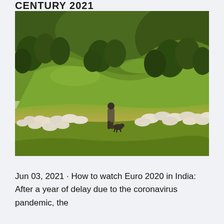CENTURY 2021
[Figure (photo): A shepherd standing in a green hillside meadow with a large flock of sheep and a dog, surrounded by dense forest on the hills in the background, with soft hazy morning light.]
Jun 03, 2021 · How to watch Euro 2020 in India: After a year of delay due to the coronavirus pandemic, the